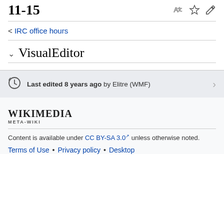11-15
< IRC office hours
VisualEditor
Last edited 8 years ago by Elitre (WMF)
[Figure (logo): Wikimedia Meta-Wiki logo with wordmark]
Content is available under CC BY-SA 3.0 unless otherwise noted.
Terms of Use • Privacy policy • Desktop